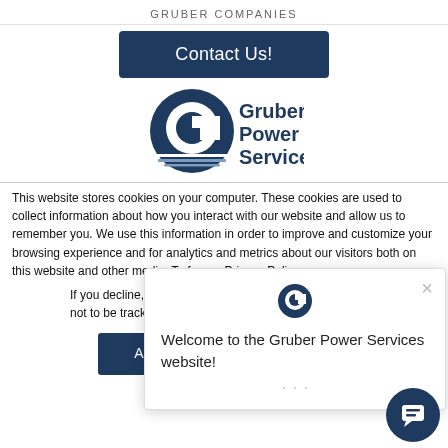GRUBER COMPANIES
[Figure (other): Contact Us! button - dark navy blue rectangular button with white text]
[Figure (logo): Gruber Power Services logo with circular G icon and company name in navy blue text]
This website stores cookies on your computer. These cookies are used to collect information about how you interact with our website and allow us to remember you. We use this information in order to improve and customize your browsing experience and for analytics and metrics about our visitors both on this website and other media. To f... our Privacy Policy.
If you decline, your i... when you visit this w... used in your browse... not to be tracked.
[Figure (other): Accept and Decline cookie consent buttons]
[Figure (other): Popup overlay: Welcome to the Gruber Power Services website! with close X button and chat icon]